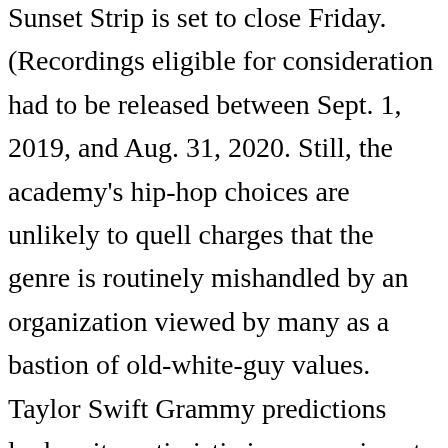Sunset Strip is set to close Friday. (Recordings eligible for consideration had to be released between Sept. 1, 2019, and Aug. 31, 2020. Still, the academy's hip-hop choices are unlikely to quell charges that the genre is routinely mishandled by an organization viewed by many as a bastion of old-white-guy values. Taylor Swift Grammy predictions look quite optimistic in comparison to other female artists. 2021 Grammy nominations: Beyoncé, Taylor Swift lead field; the Weeknd gets shut out Beyoncé leads all artists at